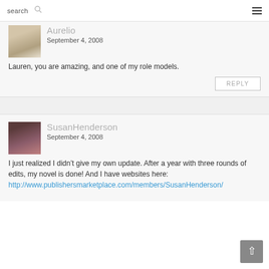search
Aurelio
September 4, 2008
Lauren, you are amazing, and one of my role models.
REPLY
SusanHenderson
September 4, 2008
I just realized I didn't give my own update. After a year with three rounds of edits, my novel is done! And I have websites here:
http://www.publishersmarketplace.com/members/SusanHenderson/